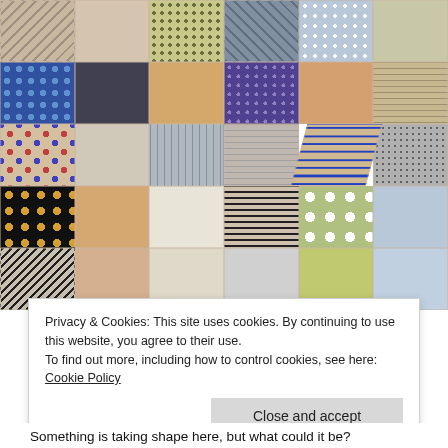[Figure (photo): Close-up photograph of a colorful patchwork quilt made of many fabric squares with various patterns including polka dots, zigzag/chevron, stripes, and novelty prints in blues, greens, oranges, blacks, and neutrals.]
Privacy & Cookies: This site uses cookies. By continuing to use this website, you agree to their use.
To find out more, including how to control cookies, see here: Cookie Policy
Close and accept
Something is taking shape here, but what could it be?